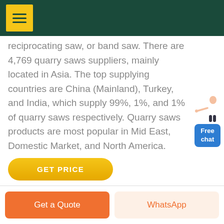reciprocating saw, or band saw. There are 4,769 quarry saws suppliers, mainly located in Asia. The top supplying countries are China (Mainland), Turkey, and India, which supply 99%, 1%, and 1% of quarry saws respectively. Quarry saws products are most popular in Mid East, Domestic Market, and North America.
GET PRICE
Free chat
Get a Quote
WhatsApp